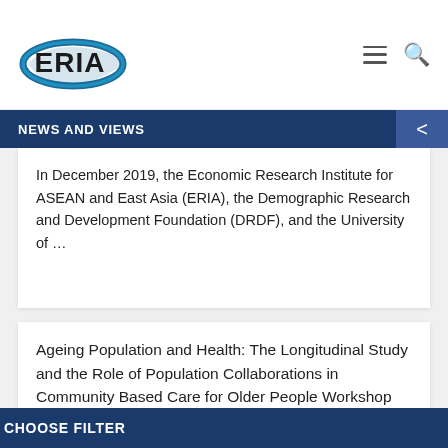ERIA
NEWS AND VIEWS
In December 2019, the Economic Research Institute for ASEAN and East Asia (ERIA), the Demographic Research and Development Foundation (DRDF), and the University of …
Ageing Population and Health: The Longitudinal Study and the Role of Population Collaborations in Community Based Care for Older People Workshop
CHOOSE FILTER